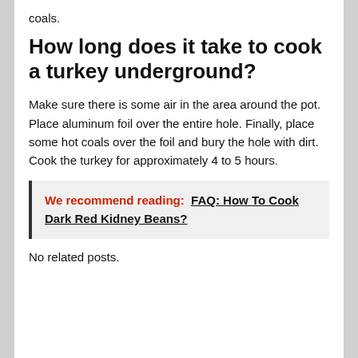coals.
How long does it take to cook a turkey underground?
Make sure there is some air in the area around the pot. Place aluminum foil over the entire hole. Finally, place some hot coals over the foil and bury the hole with dirt. Cook the turkey for approximately 4 to 5 hours.
We recommend reading: FAQ: How To Cook Dark Red Kidney Beans?
No related posts.